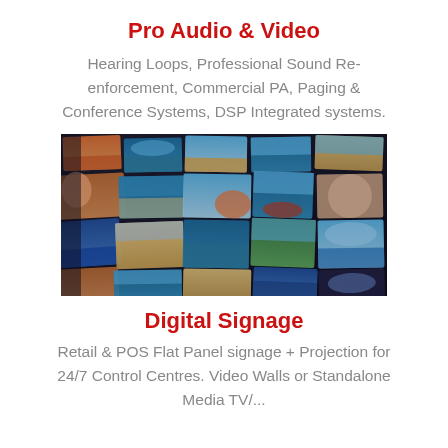Pro Audio & Video
Hearing Loops, Professional Sound Re-enforcement, Commercial PA, Paging & Conference Systems, DSP Integrated systems.
[Figure (photo): A mosaic video wall showing multiple screens with beach, ocean, and outdoor lifestyle photos arranged in a grid pattern with dark bezels.]
Digital Signage
Retail & POS Flat Panel signage + Projection for 24/7 Control Centres. Video Walls or Standalone Media TV/...